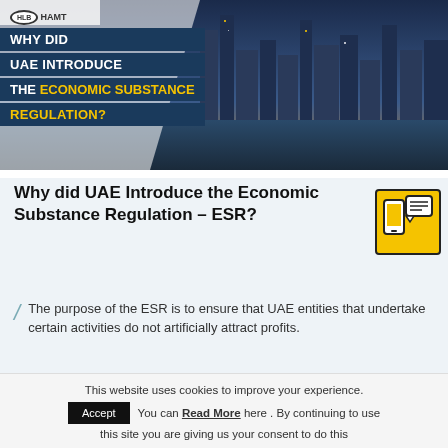[Figure (infographic): HLB HAMT logo at top left with UAE city skyline photo on right. Dark blue banner overlaid on left with text: WHY DID UAE INTRODUCE THE ECONOMIC SUBSTANCE REGULATION?]
Why did UAE Introduce the Economic Substance Regulation – ESR?
[Figure (illustration): Yellow icon showing a mobile phone and document/chat bubble icon]
The purpose of the ESR is to ensure that UAE entities that undertake certain activities do not artificially attract profits.
This website uses cookies to improve your experience.
Accept  You can Read More here . By continuing to use this site you are giving us your consent to do this